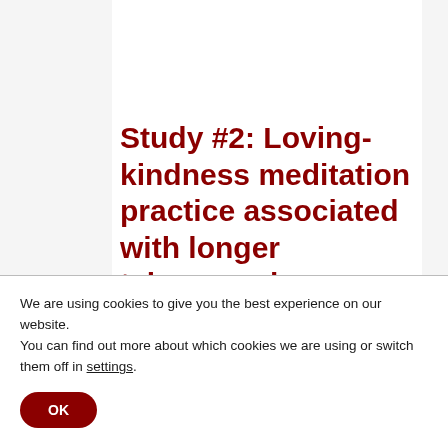Study #2: Loving-kindness meditation practice associated with longer telomeres in women
I guess Dr. Elizabeth Hogue wanted to do her own telomere/meditation
We are using cookies to give you the best experience on our website.
You can find out more about which cookies we are using or switch them off in settings.